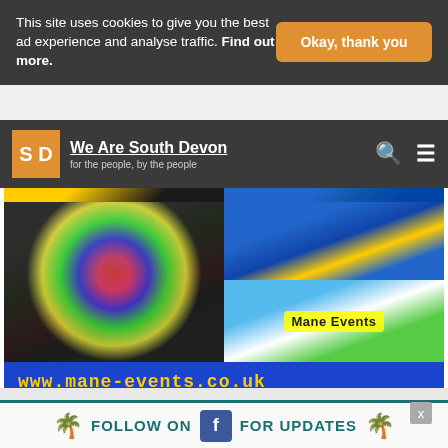This site uses cookies to give you the best ad experience and analyse traffic. Find out more.
Okay, thank you
[Figure (logo): We Are South Devon logo with SD orange square and tagline 'for the people, by the people']
[Figure (photo): Collage of inflatable bouncy castle equipment - colorful dome bouncy castle, blue inflatable slide, Mane Events logo]
www.mane-events.co.uk
Find us on Facebook
FOLLOW ON FOR UPDATES